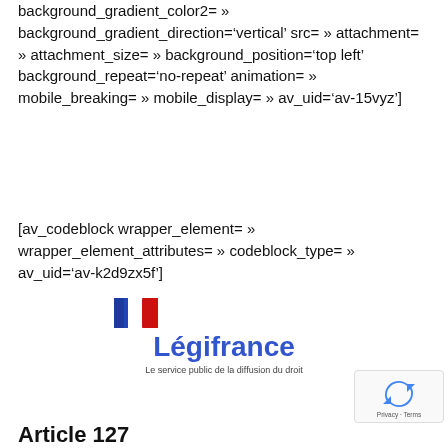background_gradient_color2= » background_gradient_direction='vertical' src= » attachment= » attachment_size= » background_position='top left' background_repeat='no-repeat' animation= » mobile_breaking= » mobile_display= » av_uid='av-15vyz']
[av_codeblock wrapper_element= » wrapper_element_attributes= » codeblock_type= » av_uid='av-k2d9zx5f']
[Figure (logo): Légifrance logo with French flag icon and tagline 'Le service public de la diffusion du droit']
[Figure (other): reCAPTCHA widget showing recycling arrows icon with 'Privacy - Terms' text]
Article 127